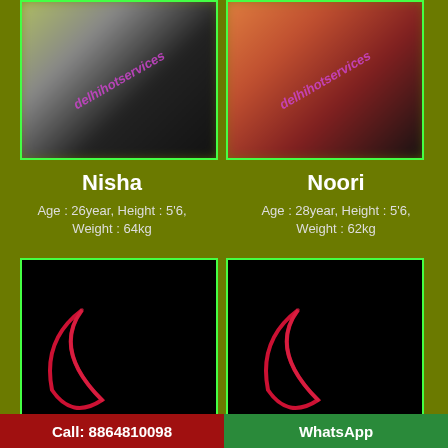[Figure (photo): Blurred photo of Nisha with watermark 'delhihotservices']
[Figure (photo): Blurred photo of Noori with watermark 'delhihotservices']
Nisha
Noori
Age : 26year, Height : 5'6, Weight : 64kg
Age : 28year, Height : 5'6, Weight : 62kg
[Figure (photo): Black photo with red crescent shape (left)]
[Figure (photo): Black photo with red crescent shape (right)]
Call: 8864810098
WhatsApp